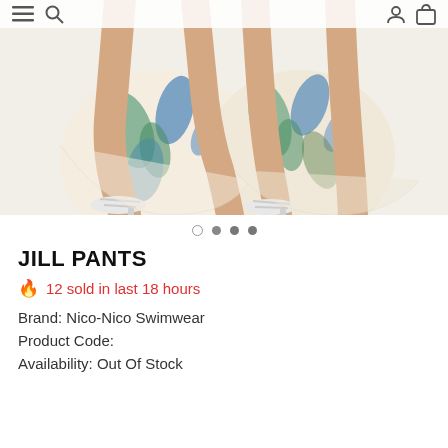[Figure (photo): Product photo showing lower half of two female models wearing floral/tropical print wide-leg pants (cream with blue and green leaf/floral pattern) and white strappy heeled sandals, on a white background. Navigation bar icons visible at top.]
JILL PANTS
🔥 12 sold in last 18 hours
Brand: Nico-Nico Swimwear
Product Code:
Availability: Out Of Stock